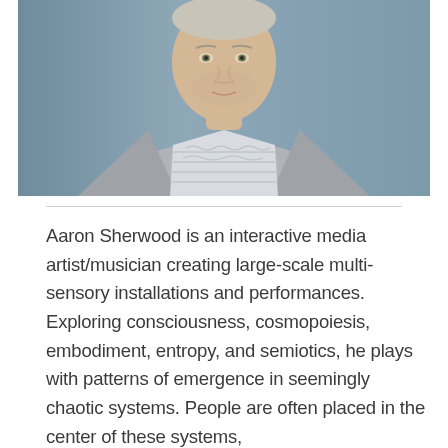[Figure (photo): Headshot photo of a young man with short light hair wearing a grey cardigan over a white striped t-shirt with a printed pattern, against a blue-grey textured background.]
Aaron Sherwood is an interactive media artist/musician creating large-scale multi-sensory installations and performances. Exploring consciousness, cosmopoiesis, embodiment, entropy, and semiotics, he plays with patterns of emergence in seemingly chaotic systems. People are often placed in the center of these systems,